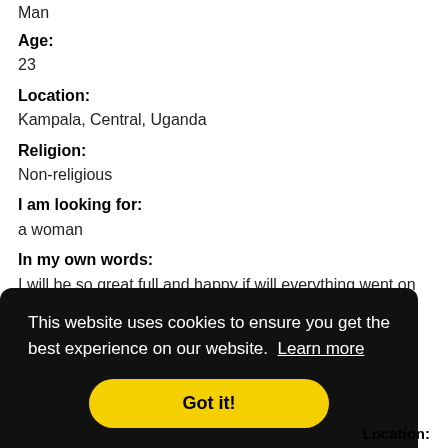Man
Age:
23
Location:
Kampala, Central, Uganda
Religion:
Non-religious
I am looking for:
a woman
In my own words:
I will be so great full and happy if will everything went on well
This website uses cookies to ensure you get the best experience on our website. Learn more
Got it!
Location: